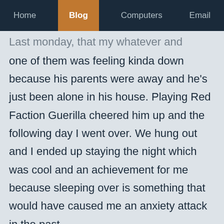Home | Blog | Computers | Email
one of them was feeling kinda down because his parents were away and he's just been alone in his house. Playing Red Faction Guerilla cheered him up and the following day I went over. We hung out and I ended up staying the night which was cool and an achievement for me because sleeping over is something that would have caused me an anxiety attack in the past.